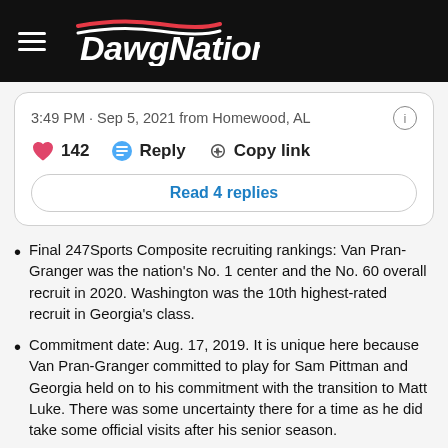DawgNation
3:49 PM · Sep 5, 2021 from Homewood, AL
142   Reply   Copy link
Read 4 replies
Final 247Sports Composite recruiting rankings: Van Pran-Granger was the nation's No. 1 center and the No. 60 overall recruit in 2020. Washington was the 10th highest-rated recruit in Georgia's class.
Commitment date: Aug. 17, 2019. It is unique here because Van Pran-Granger committed to play for Sam Pittman and Georgia held on to his commitment with the transition to Matt Luke. There was some uncertainty there for a time as he did take some official visits after his senior season.
Why SVPG chose Georgia: Georgia was his first big offer. His first big trip to one of those cathedrals that SEC fans refer to as their stadiums.